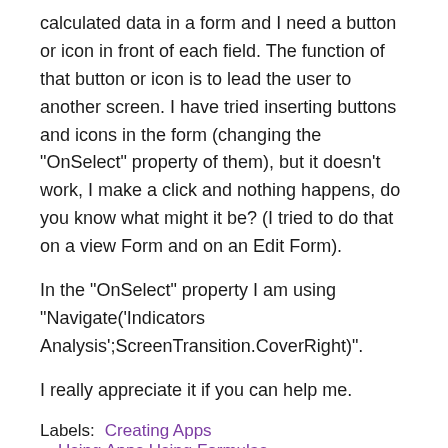calculated data in a form and I need a button or icon in front of each field. The function of that button or icon is to lead the user to another screen. I have tried inserting buttons and icons in the form (changing the "OnSelect" property of them), but it doesn't work, I make a click and nothing happens, do you know what might it be? (I tried to do that on a view Form and on an Edit Form).

In the "OnSelect" property I am using "Navigate('Indicators Analysis';ScreenTransition.CoverRight)".

I really appreciate it if you can help me.
Labels:   Creating Apps   Using Apps Using Formulas
Message 1 of 2 (96 Views)